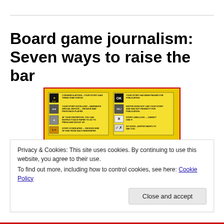Board game journalism: Seven ways to raise the bar
[Figure (illustration): A vintage board game card image showing a yellow background with two columns of game instruction cards (star ratings, OK, REJ, X symbols) and a black rotary telephone with stars in the foreground.]
Privacy & Cookies: This site uses cookies. By continuing to use this website, you agree to their use.
To find out more, including how to control cookies, see here: Cookie Policy
Close and accept